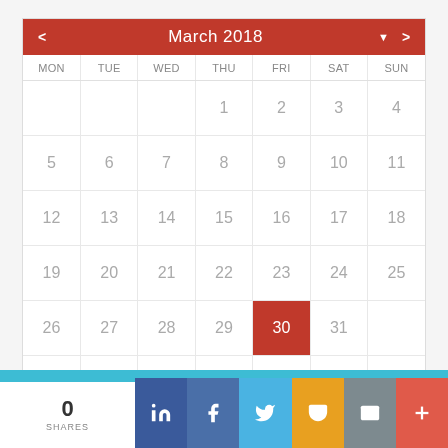[Figure (other): March 2018 calendar widget with navigation arrows and red header. Day 30 (Friday) is highlighted in red as today. Days 1-31 shown across MON-SUN columns.]
0 SHARES